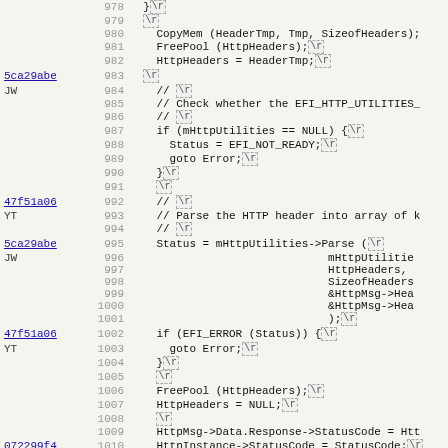[Figure (screenshot): Source code diff view showing C/C++ code lines 978-1010 with line annotations (commit hashes 5ca29abe, 47f51a06, 072299f4 and authors JW, YT), line numbers, and code content including CopyMem, FreePool, HttpHeaders, mHttpUtilities->Parse, EFI_ERROR checks, with \r carriage return markers shown as dashed boxes.]